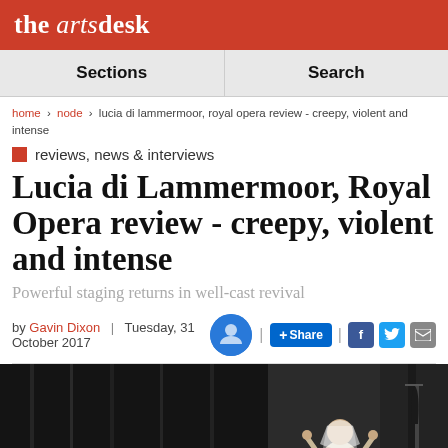the arts desk
Sections | Search
home > node > lucia di lammermoor, royal opera review - creepy, violent and intense
reviews, news & interviews
Lucia di Lammermoor, Royal Opera review - creepy, violent and intense
Powerful staging returns in well-cast revival
by Gavin Dixon | Tuesday, 31 October 2017
[Figure (photo): Dark stage photo showing backstage area with a figure in a bridal veil adjusting headpiece, from the Royal Opera production of Lucia di Lammermoor]